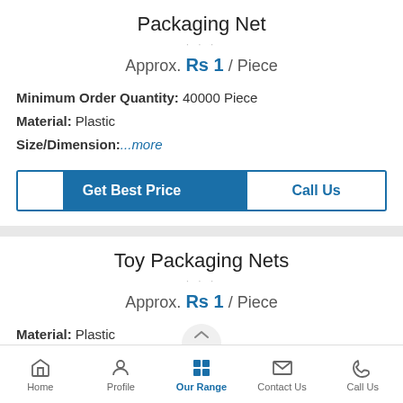Packaging Net
Approx. Rs 1 / Piece
Minimum Order Quantity: 40000 Piece
Material: Plastic
Size/Dimension: ...more
Toy Packaging Nets
Approx. Rs 1 / Piece
Material: Plastic
Packaging Type: Basket
Home   Profile   Our Range   Contact Us   Call Us